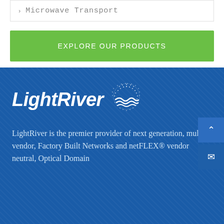Microwave Transport
Explore Our Products
[Figure (logo): LightRiver logo with stylized globe/wave icon in white on blue background]
LightRiver is the premier provider of next generation, multi-vendor, Factory Built Networks and netFLEX® vendor neutral, Optical Domain